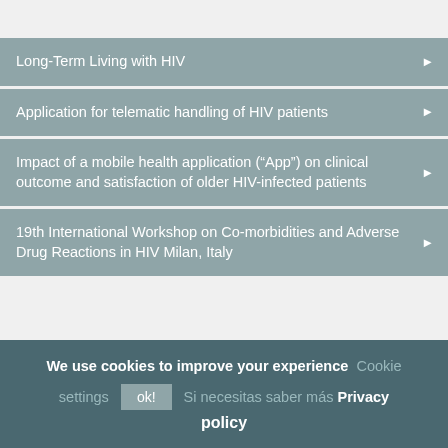Long-Term Living with HIV
Application for telematic handling of HIV patients
Impact of a mobile health application (“App”) on clinical outcome and satisfaction of older HIV-infected patients
19th International Workshop on Co-morbidities and Adverse Drug Reactions in HIV Milan, Italy
We use cookies to improve your experience  Cookie settings  ok!  Si necesitas saber más Privacy policy